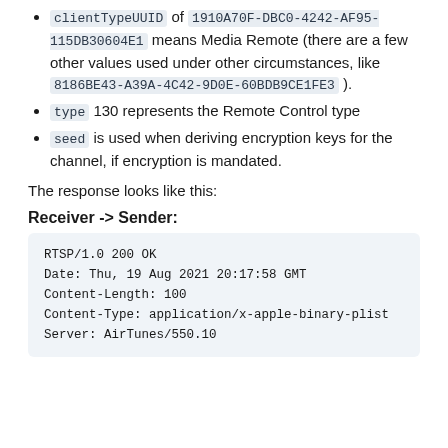clientTypeUUID of 1910A70F-DBC0-4242-AF95-115DB30604E1 means Media Remote (there are a few other values used under other circumstances, like 8186BE43-A39A-4C42-9D0E-60BDB9CE1FE3).
type 130 represents the Remote Control type
seed is used when deriving encryption keys for the channel, if encryption is mandated.
The response looks like this:
Receiver -> Sender:
RTSP/1.0 200 OK
Date: Thu, 19 Aug 2021 20:17:58 GMT
Content-Length: 100
Content-Type: application/x-apple-binary-plist
Server: AirTunes/550.10